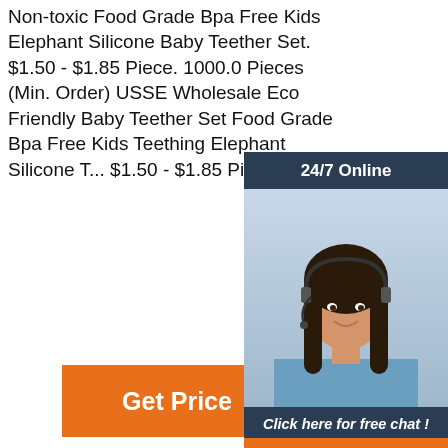Non-toxic Food Grade Bpa Free Kids Elephant Silicone Baby Teether Set. $1.50 - $1.85 Piece. 1000.0 Pieces (Min. Order) USSE Wholesale Eco Friendly Baby Teether Set Food Grade Bpa Free Kids Teething Elephant Silicone T... $1.50 - $1.85 Piece.
[Figure (screenshot): Get Price orange button]
[Figure (infographic): 24/7 Online chat widget with woman wearing headset, dark blue background, orange QUOTATION button, and 'Click here for free chat!' text]
[Figure (photo): Bottom section showing a commercial refrigerator/display cooler with green top and bottles inside, on gray background. Alongside a pink/magenta card with 'TOP' text in orange and white dots.]